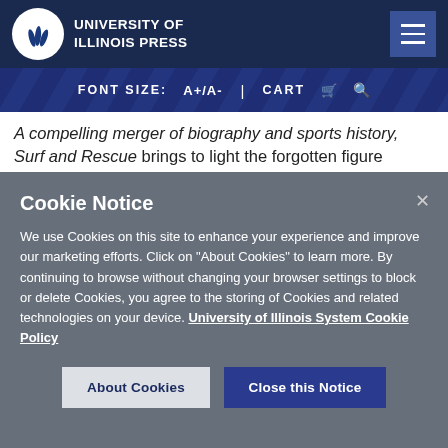UNIVERSITY OF ILLINOIS PRESS
FONT SIZE: A+/A-  |  CART  🛒  🔍
A compelling merger of biography and sports history, Surf and Rescue brings to light the forgotten figure whose novel way of seeing the beach sparked the
Cookie Notice
We use Cookies on this site to enhance your experience and improve our marketing efforts. Click on "About Cookies" to learn more. By continuing to browse without changing your browser settings to block or delete Cookies, you agree to the storing of Cookies and related technologies on your device. University of Illinois System Cookie Policy